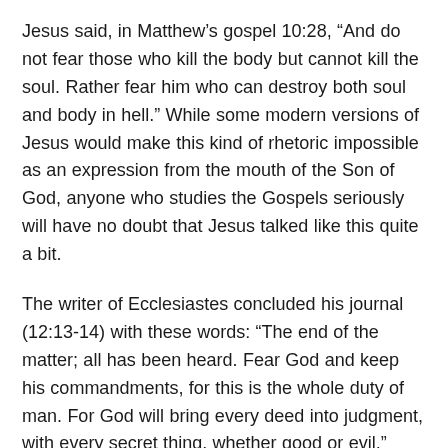Jesus said, in Matthewâs gospel 10:28, âAnd do not fear those who kill the body but cannot kill the soul. Rather fear him who can destroy both soul and body in hell.â While some modern versions of Jesus would make this kind of rhetoric impossible as an expression from the mouth of the Son of God, anyone who studies the Gospels seriously will have no doubt that Jesus talked like this quite a bit.
The writer of Ecclesiastes concluded his journal (12:13-14) with these words: âThe end of the matter; all has been heard. Fear God and keep his commandments, for this is the whole duty of man. For God will bring every deed into judgment, with every secret thing, whether good or evil.â